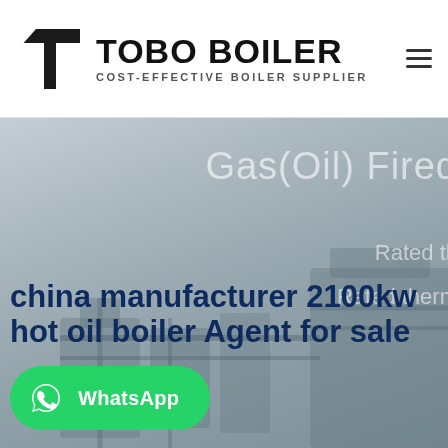[Figure (logo): TOBO BOILER logo with geometric icon and tagline COST-EFFECTIVE BOILER SUPPLIER]
[Figure (photo): Gas(Oil) Fired boiler industrial equipment hero image with text overlay showing product specs: Rated th... and Rated therm... partially visible on right side]
china manufacturer 2100kw hot oil boiler Agent for sale
[Figure (logo): WhatsApp green button with phone icon and WhatsApp label]